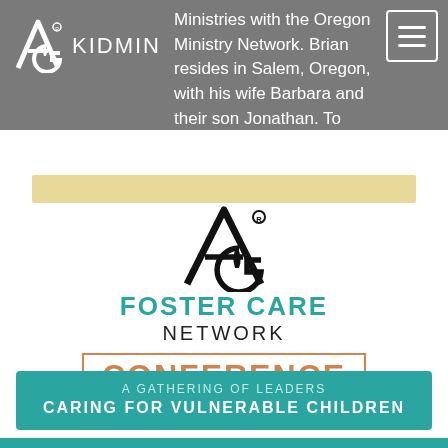AG KIDMIN
Ministries with the Oregon Ministry Network. Brian resides in Salem, Oregon, with his wife Barbara and their son Jonathan. To follow him: @nextgenpastor.
[Figure (logo): AG Foster Care Network Conference logo with teal FOSTER CARE text, NETWORK in black, CONFERENCE in orange with border, OCTOBER 6-7]
A GATHERING OF LEADERS CARING FOR VULNERABLE CHILDREN